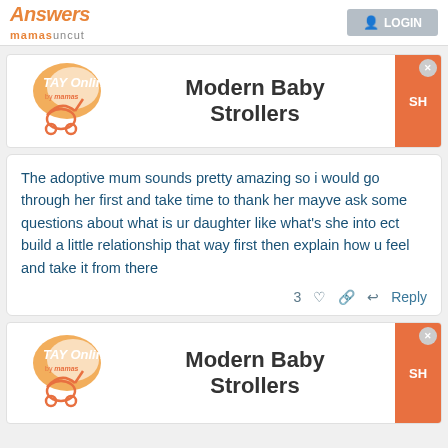Answers mamasuncut — Login
[Figure (logo): TAY Online by mamas advertisement banner with stroller logo — Modern Baby Strollers, SH button]
The adoptive mum sounds pretty amazing so i would go through her first and take time to thank her mayve ask some questions about what is ur daughter like what's she into ect build a little relationship that way first then explain how u feel and take it from there
3  ♡  🔗  ↩  Reply
[Figure (logo): TAY Online by mamas advertisement banner with stroller logo — Modern Baby Strollers, SH button (repeated)]